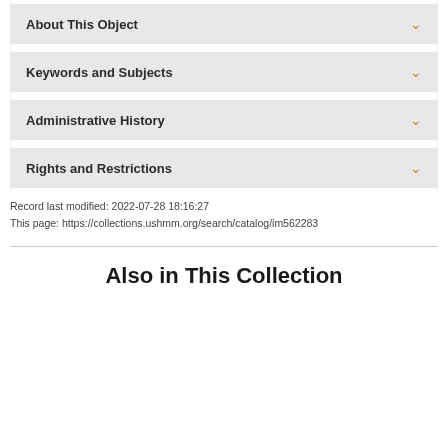About This Object
Keywords and Subjects
Administrative History
Rights and Restrictions
Record last modified: 2022-07-28 18:16:27
This page: https://collections.ushmm.org/search/catalog/im562283
Also in This Collection